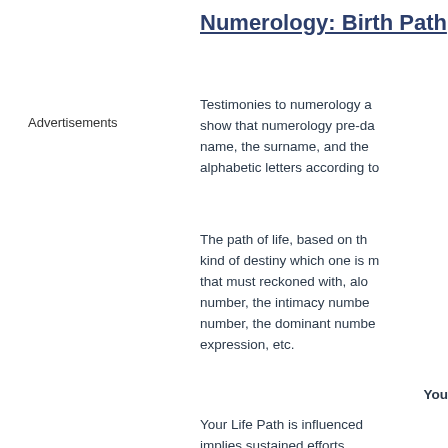Numerology: Birth Path
Advertisements
Testimonies to numerology are show that numerology pre-da name, the surname, and the alphabetic letters according to
The path of life, based on th kind of destiny which one is m that must reckoned with, alc number, the intimacy numbe number, the dominant number expression, etc.
You
Your Life Path is influenced implies sustained efforts, achievements. The path may provided that you demonstra